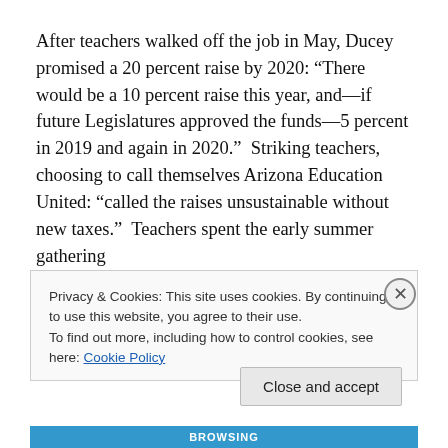After teachers walked off the job in May, Ducey promised a 20 percent raise by 2020: “There would be a 10 percent raise this year, and—if future Legislatures approved the funds—5 percent in 2019 and again in 2020.”  Striking teachers, choosing to call themselves Arizona Education United: “called the raises unsustainable without new taxes.”  Teachers spent the early summer gathering
Privacy & Cookies: This site uses cookies. By continuing to use this website, you agree to their use.
To find out more, including how to control cookies, see here: Cookie Policy
Close and accept